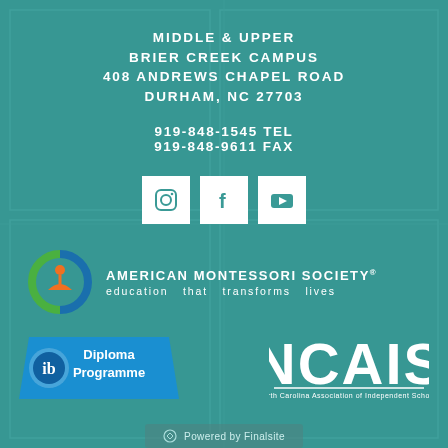MIDDLE & UPPER
BRIER CREEK CAMPUS
408 ANDREWS CHAPEL ROAD
DURHAM, NC 27703
919-848-1545 TEL
919-848-9611 FAX
[Figure (logo): Three social media icons: Instagram, Facebook, YouTube in white square tiles]
[Figure (logo): American Montessori Society circular logo with orange figure and blue/green arcs]
AMERICAN MONTESSORI SOCIETY®
education that transforms lives
[Figure (logo): IB Diploma Programme badge in blue]
[Figure (logo): NCAIS North Carolina Association of Independent Schools logo in white]
Powered by Finalsite